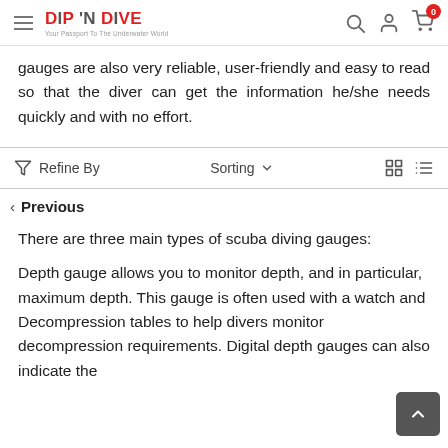DIP 'N DIVE — Your Passport To The Underwater World
gauges are also very reliable, user-friendly and easy to read so that the diver can get the information he/she needs quickly and with no effort.
Refine By   Sorting ▾
< Previous
There are three main types of scuba diving gauges:
Depth gauge allows you to monitor depth, and in particular, maximum depth. This gauge is often used with a watch and Decompression tables to help divers monitor decompression requirements. Digital depth gauges can also indicate the